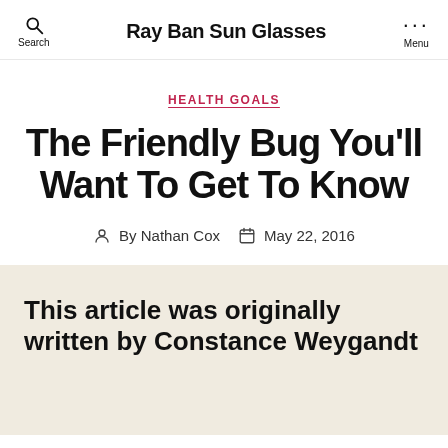Ray Ban Sun Glasses
HEALTH GOALS
The Friendly Bug You'll Want To Get To Know
By Nathan Cox   May 22, 2016
This article was originally written by Constance Weygandt